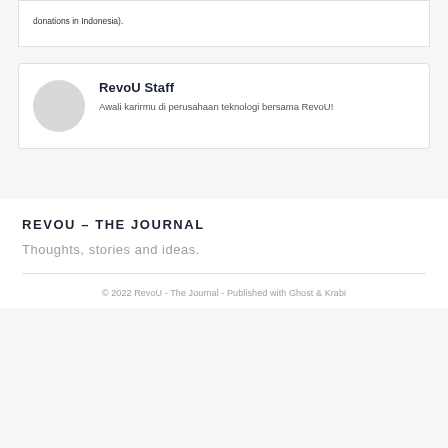donations in Indonesia).
[Figure (illustration): Circular avatar placeholder for RevoU Staff author]
RevoU Staff
Awali karirmu di perusahaan teknologi bersama RevoU!
REVOU - THE JOURNAL
Thoughts, stories and ideas.
© 2022 RevoU - The Journal - Published with Ghost & Krabi